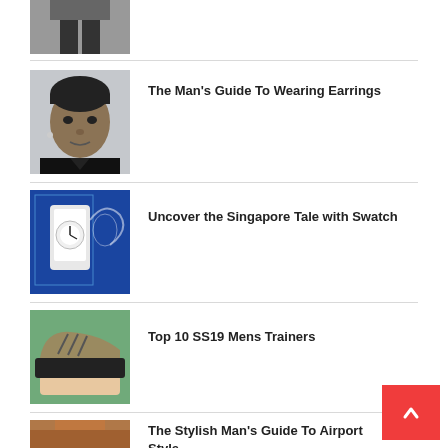[Figure (photo): Partial photo of a man in a suit from the previous list item]
[Figure (photo): Photo of a man (Michael B. Jordan) wearing earrings]
The Man's Guide To Wearing Earrings
[Figure (photo): Photo of a Swatch watch with Singapore-themed blue display]
Uncover the Singapore Tale with Swatch
[Figure (photo): Photo of olive green sneakers/trainers being held on a hand]
Top 10 SS19 Mens Trainers
[Figure (photo): Photo of a young man in a brown jacket — airport style]
The Stylish Man's Guide To Airport Style